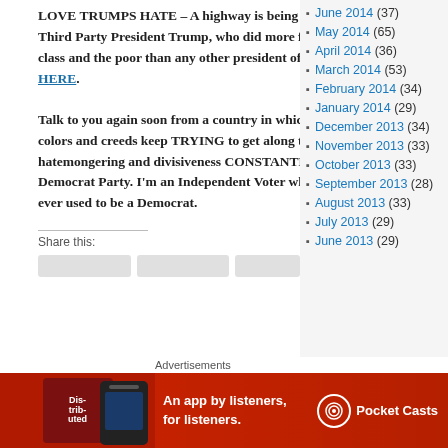LOVE TRUMPS HATE – A highway is being named for de facto Third Party President Trump, who did more for the working class and the poor than any other president of my lifetime. Click HERE.
Talk to you again soon from a country in which people of all colors and creeds keep TRYING to get along together despite the hatemongering and divisiveness CONSTANTLY pushed by the Democrat Party. I'm an Independent Voter who is ashamed that I ever used to be a Democrat.
Share this:
June 2014 (37)
May 2014 (65)
April 2014 (36)
March 2014 (53)
February 2014 (34)
January 2014 (29)
December 2013 (34)
November 2013 (33)
October 2013 (33)
September 2013 (28)
August 2013 (33)
July 2013 (29)
June 2013 (29)
Advertisements
[Figure (infographic): Red Pocket Casts advertisement banner: 'An app by listeners, for listeners.' with a phone image and Pocket Casts logo/icon]